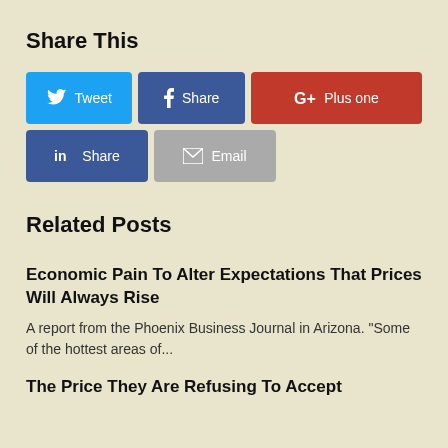Share This
[Figure (infographic): Social share buttons: Tweet (Twitter, blue), Share (Facebook, dark blue), Plus one (Google+, red), Share (LinkedIn, dark blue), Email (grey)]
Related Posts
Economic Pain To Alter Expectations That Prices Will Always Rise
A report from the Phoenix Business Journal in Arizona. "Some of the hottest areas of...
The Price They Are Refusing To Accept